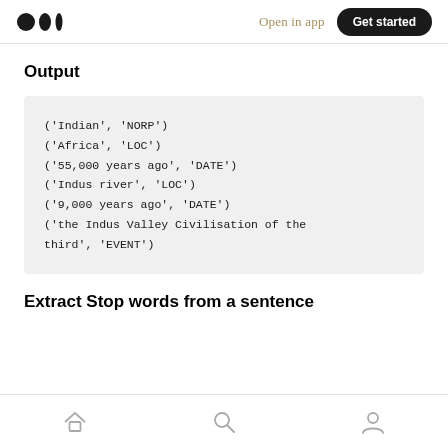Open in app  Get started
Output
('Indian', 'NORP')
('Africa', 'LOC')
('55,000 years ago', 'DATE')
('Indus river', 'LOC')
('9,000 years ago', 'DATE')
('the Indus Valley Civilisation of the third', 'EVENT')
Extract Stop words from a sentence
Home  Search  Profile